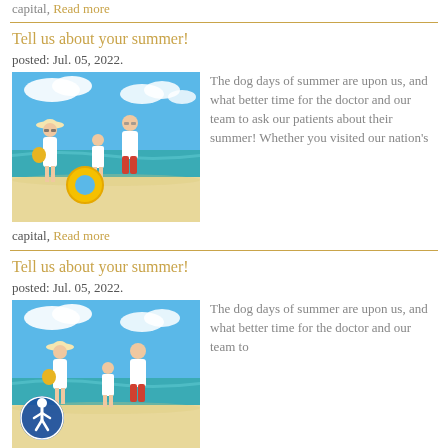capital, Read more
Tell us about your summer!
posted: Jul. 05, 2022.
[Figure (photo): Family of four walking on a tropical beach, wearing white and red outfits, carrying a yellow inflatable ring and beach bag.]
The dog days of summer are upon us, and what better time for the doctor and our team to ask our patients about their summer! Whether you visited our nation's capital, Read more
Tell us about your summer!
posted: Jul. 05, 2022.
[Figure (photo): Family of four walking on a tropical beach, wearing white and red outfits, with accessibility icon overlay in bottom left.]
The dog days of summer are upon us, and what better time for the doctor and our team to